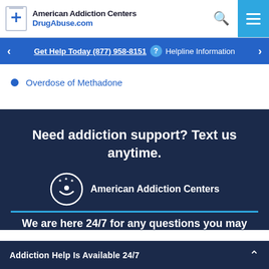American Addiction Centers DrugAbuse.com
Get Help Today (877) 958-8151 ? Helpline Information
Overdose of Methadone
Need addiction support? Text us anytime.
[Figure (logo): American Addiction Centers circular logo with stars and figure, with text 'American Addiction Centers']
We are here 24/7 for any questions you may
Addiction Help Is Available 24/7